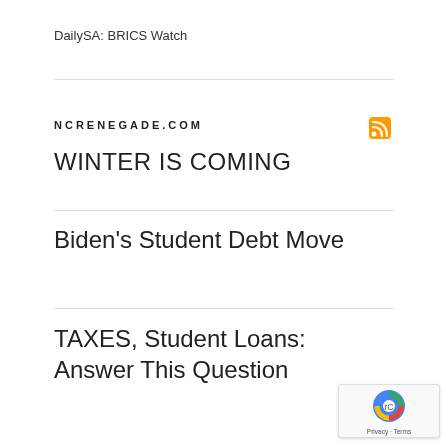DailySA: BRICS Watch
NCRENEGADE.COM
WINTER IS COMING
Biden's Student Debt Move
TAXES, Student Loans: Answer This Question